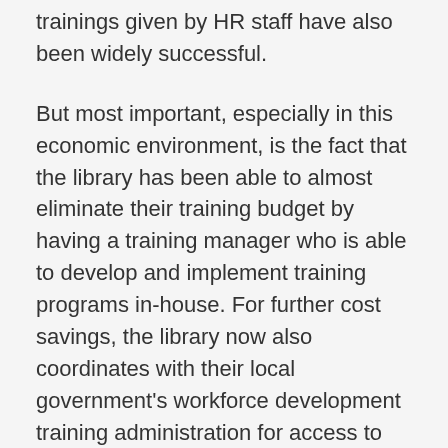trainings given by HR staff have also been widely successful.
But most important, especially in this economic environment, is the fact that the library has been able to almost eliminate their training budget by having a training manager who is able to develop and implement training programs in-house. For further cost savings, the library now also coordinates with their local government's workforce development training administration for access to free courses.
We are now preparing to conduct a formal evaluation of the HR audit process and assess how processes have improved and staff are more engaged. But looking back, one thing the Chief Business Officer says he would have done differently is to have focused on more specific HR staff training sooner.  Staff were previously hired to be